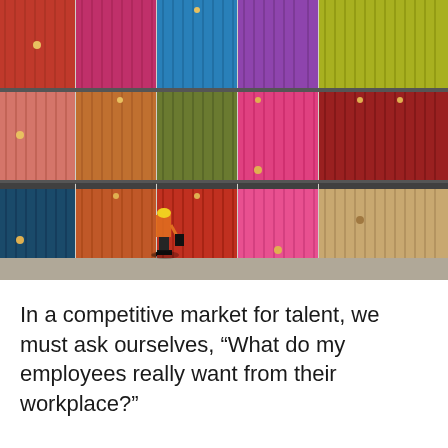[Figure (photo): A worker in an orange high-visibility vest and yellow hard hat stands in front of a large wall of stacked colorful shipping containers in various colors including red, orange, blue, pink, purple, green, teal, yellow, and tan.]
In a competitive market for talent, we must ask ourselves, “What do my employees really want from their workplace?”